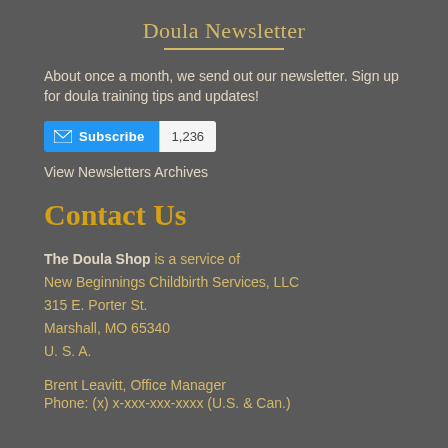Doula Newsletter
About once a month, we send out our newsletter. Sign up for doula training tips and updates!
[Figure (other): Subscribe button (blue) with envelope icon and label 'Subscribe', followed by subscriber count badge showing '1,236']
View Newsletters Archives
Contact Us
The Doula Shop is a service of
New Beginnings Childbirth Services, LLC
315 E. Porter St.
Marshall, MO 65340
U. S. A.
Brent Leavitt, Office Manager
Phone: (x) x-xxx-xxx-xxxx (U.S. & Can.)